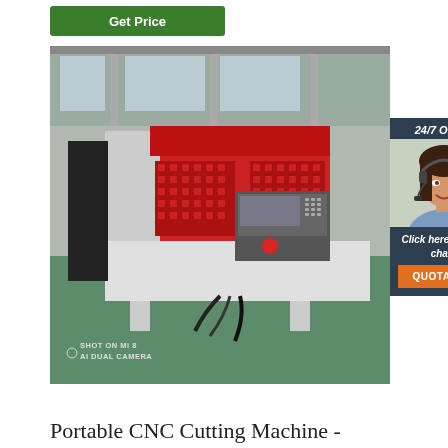Get Price
[Figure (photo): CNC cutting machine in an industrial warehouse with red and grey body, control panel visible. Watermark text: SHOT ON MI 8 AI DUAL CAMERA]
[Figure (infographic): 24/7 Online chat widget with a woman wearing a headset, text 'Click here for free chat!' and an orange QUOTATION button]
Portable CNC Cutting Machine -